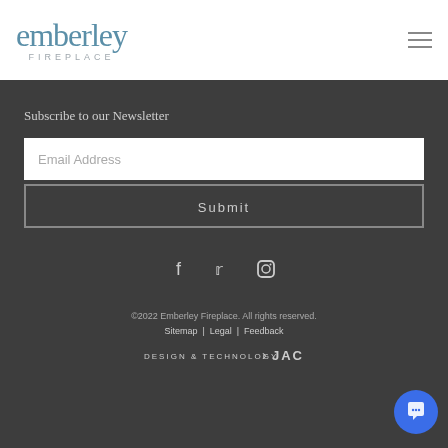[Figure (logo): Emberley Fireplace logo with teal/blue text and subtitle]
Subscribe to our Newsletter
Email Address
Submit
[Figure (infographic): Social media icons: Facebook, Twitter, Instagram]
©2022 Emberley Fireplace. All rights reserved.
Sitemap | Legal | Feedback
DESIGN & TECHNOLOGY > JAC